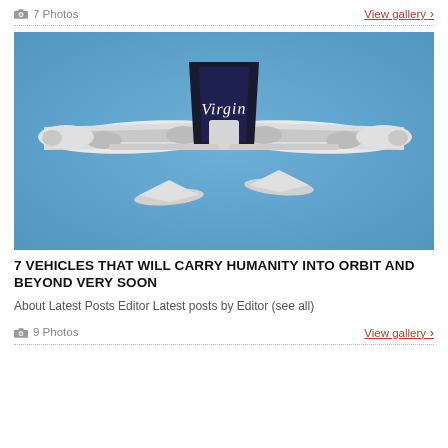7 Photos   View gallery ›
[Figure (photo): Aerial view from below of a large white twin-fuselage aircraft (WhiteKnightTwo) carrying a smaller spacecraft between its fuselages. A black triangular tail fin with the 'Virgin' logo is visible. The aircraft is photographed against a clear blue sky.]
7 VEHICLES THAT WILL CARRY HUMANITY INTO ORBIT AND BEYOND VERY SOON
About Latest Posts Editor Latest posts by Editor (see all)
9 Photos   View gallery ›